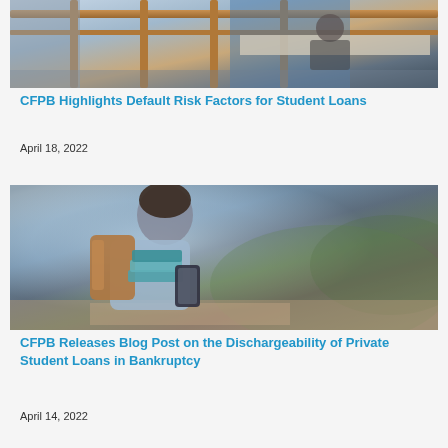[Figure (photo): Overhead/side view of students sitting at desks in a modern corridor or library area with wooden railings and blue partitions]
CFPB Highlights Default Risk Factors for Student Loans
April 18, 2022
[Figure (photo): Young woman with brown hair walking outdoors, wearing a light blue shirt, carrying teal books and a brown backpack, looking at a smartphone]
CFPB Releases Blog Post on the Dischargeability of Private Student Loans in Bankruptcy
April 14, 2022